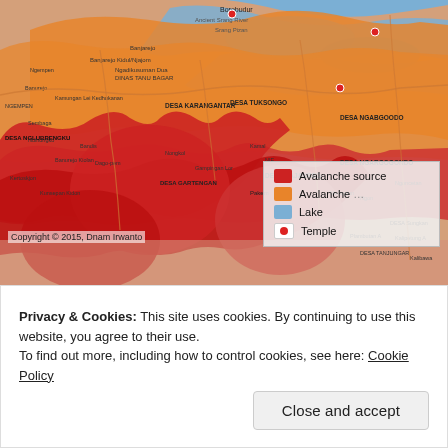[Figure (map): A topographic/hazard map of an area near Borobudur, Indonesia, showing avalanche source zones (red), avalanche zones (orange), lakes (blue), and temples (red dots) with village and region labels. Legend in lower right shows: Avalanche source (red), Avalanche (orange), Lake (blue), Temple (red dot). Copyright 2015 Dnam Irwanto.]
Privacy & Cookies: This site uses cookies. By continuing to use this website, you agree to their use.
To find out more, including how to control cookies, see here: Cookie Policy
Close and accept